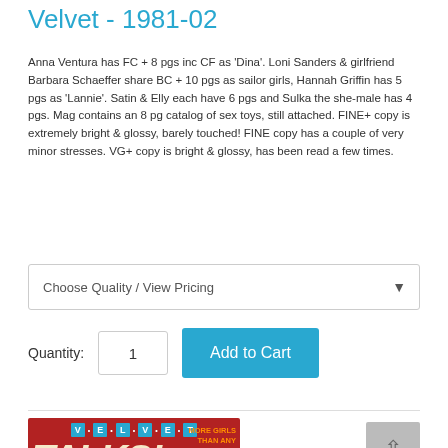Velvet - 1981-02
Anna Ventura has FC + 8 pgs inc CF as 'Dina'. Loni Sanders & girlfriend Barbara Schaeffer share BC + 10 pgs as sailor girls, Hannah Griffin has 5 pgs as 'Lannie'. Satin & Elly each have 6 pgs and Sulka the she-male has 4 pgs. Mag contains an 8 pg catalog of sex toys, still attached. FINE+ copy is extremely bright & glossy, barely touched! FINE copy has a couple of very minor stresses. VG+ copy is bright & glossy, has been read a few times.
Read More...
Choose Quality / View Pricing
Quantity: 1  Add to Cart
[Figure (photo): Magazine cover of Velvet with 'TALKS!' headline on red background, tagline 'MORE GIRLS THAN ANY MAGAZINE IN THE WORLD!']